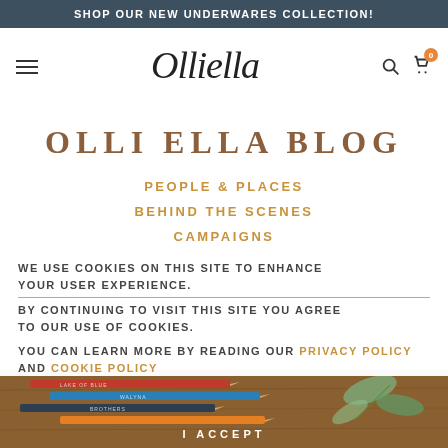SHOP OUR NEW UNDERWARES COLLECTION!
[Figure (logo): Olli Ella handwritten script logo]
OLLI ELLA BLOG
PEOPLE & PLACES
BEHIND THE SCENES
CAMPAIGNS
DIY
WE USE COOKIES ON THIS SITE TO ENHANCE YOUR USER EXPERIENCE. BY CONTINUING TO VISIT THIS SITE YOU AGREE TO OUR USE OF COOKIES.
YOU CAN LEARN MORE BY READING OUR PRIVACY POLICY AND COOKIE POLICY
I ACCEPT
[Figure (photo): Colored pencils on a wooden surface with eucalyptus leaves]